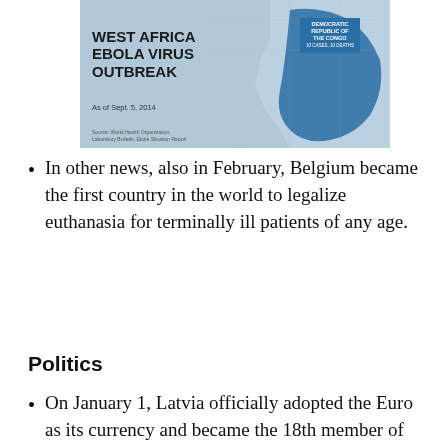[Figure (map): West Africa Ebola Virus Outbreak map as of Sept. 5, 2014, showing affected regions including Democratic Republic of the Congo. Source: World Health Organization, Laboratory Bulletin, Ebola Situation Report.]
In other news, also in February, Belgium became the first country in the world to legalize euthanasia for terminally ill patients of any age.
Politics
On January 1, Latvia officially adopted the Euro as its currency and became the 18th member of the Eurozone.